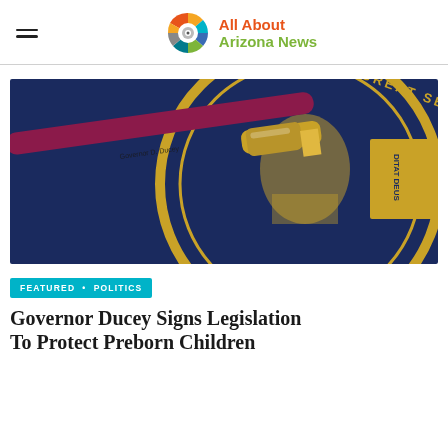All About Arizona News
[Figure (photo): A gold signing pen resting on a dark blue document folder embossed with the Great Seal of Arizona in gold, showing text 'DITAT DEUS' and 'OF ARIZONA']
FEATURED • POLITICS
Governor Ducey Signs Legislation To Protect Preborn Children